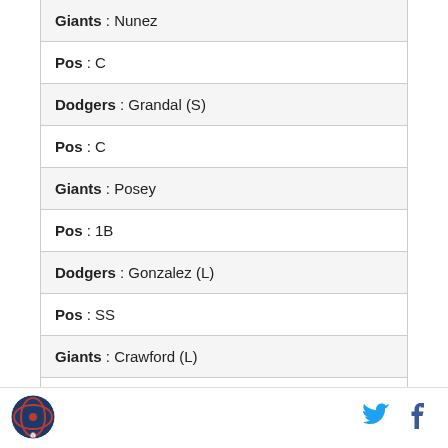Giants : Nunez
Pos : C
Dodgers : Grandal (S)
Pos : C
Giants : Posey
Pos : 1B
Dodgers : Gonzalez (L)
Pos : SS
Giants : Crawford (L)
Pos : RF
Dodgers : Puig
[Figure (logo): Sports site logo circle emblem]